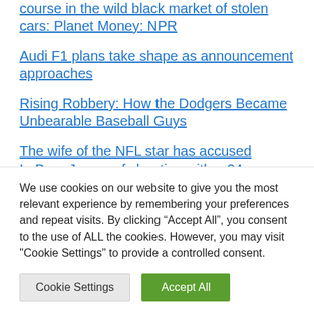course in the wild black market of stolen cars: Planet Money: NPR
Audi F1 plans take shape as announcement approaches
Rising Robbery: How the Dodgers Became Unbearable Baseball Guys
The wife of the NFL star has accused LeBron James of cheating with a 24-year-old IG model with 3 million followers
We use cookies on our website to give you the most relevant experience by remembering your preferences and repeat visits. By clicking “Accept All”, you consent to the use of ALL the cookies. However, you may visit "Cookie Settings" to provide a controlled consent.